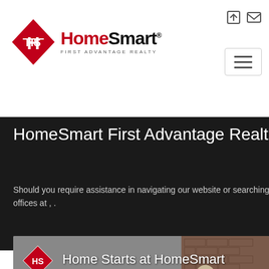[Figure (logo): HomeSmart First Advantage Realty logo with red diamond icon and brand name]
HomeSmart First Advantage Realt
Should you require assistance in navigating our website or searching for real estate, offices at , .
[Figure (screenshot): Video thumbnail showing Home Starts at HomeSmart with HomeSmart diamond logo and a person holding a SOLD sign in front of a brick house]